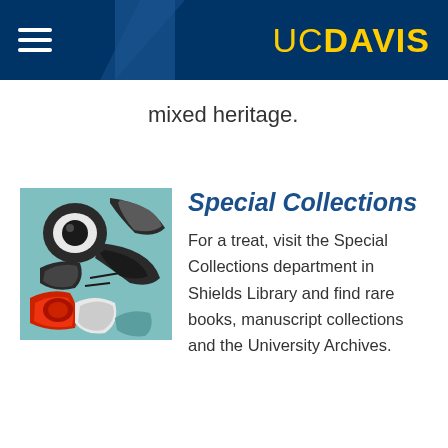UC DAVIS
mixed heritage.
[Figure (illustration): Indigenous Pacific Northwest art style painting, close-up of a stylized face/bird figure in teal, black, white, and red colors.]
Special Collections
For a treat, visit the Special Collections department in Shields Library and find rare books, manuscript collections and the University Archives.